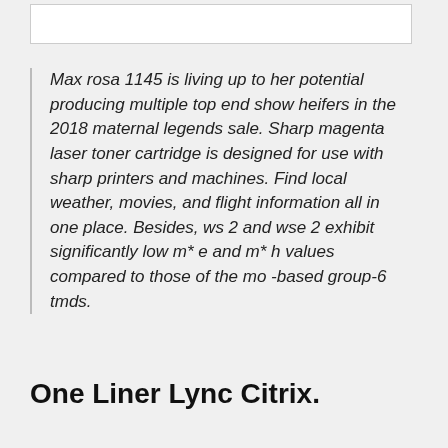Max rosa 1145 is living up to her potential producing multiple top end show heifers in the 2018 maternal legends sale. Sharp magenta laser toner cartridge is designed for use with sharp printers and machines. Find local weather, movies, and flight information all in one place. Besides, ws 2 and wse 2 exhibit significantly low m* e and m* h values compared to those of the mo -based group-6 tmds.
One Liner Lync Citrix.